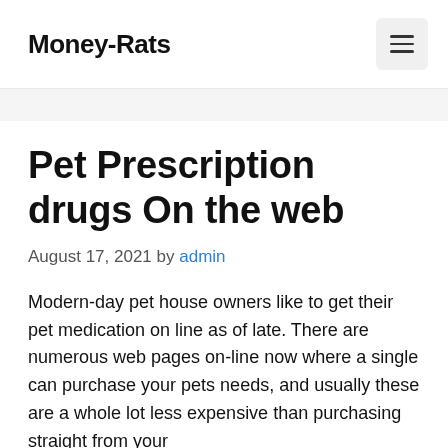Money-Rats
Pet Prescription drugs On the web
August 17, 2021 by admin
Modern-day pet house owners like to get their pet medication on line as of late. There are numerous web pages on-line now where a single can purchase your pets needs, and usually these are a whole lot less expensive than purchasing straight from your